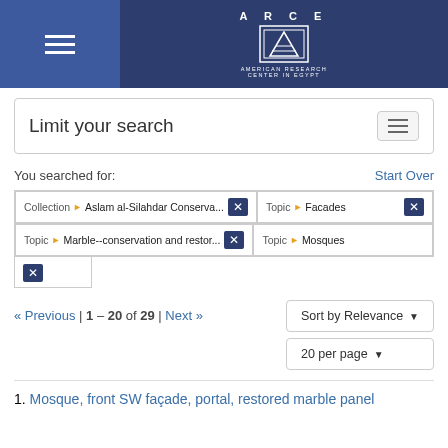[Figure (logo): ARCE - American Research Center in Egypt logo with emblem in navy header bar]
Limit your search
You searched for:
Start Over
Collection > Aslam al-Silahdar Conserva... ✕
Topic > Facades ✕
Topic > Marble--conservation and restor... ✕
Topic > Mosques
✕
« Previous | 1 - 20 of 29 | Next »
Sort by Relevance ▾
20 per page ▾
1. Mosque, front SW façade, portal, restored marble panel